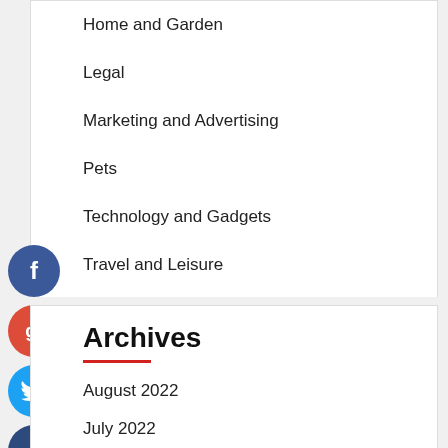Home and Garden
Legal
Marketing and Advertising
Pets
Technology and Gadgets
Travel and Leisure
Archives
August 2022
July 2022
June 2022